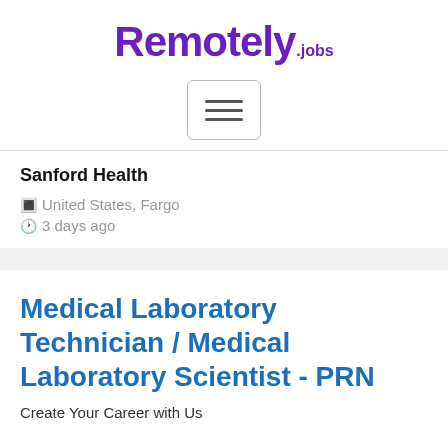Remotely.jobs
[Figure (other): Hamburger menu button icon with three horizontal lines]
Sanford Health
🏢 United States, Fargo
🕐 3 days ago
Medical Laboratory Technician / Medical Laboratory Scientist - PRN
Create Your Career with Us